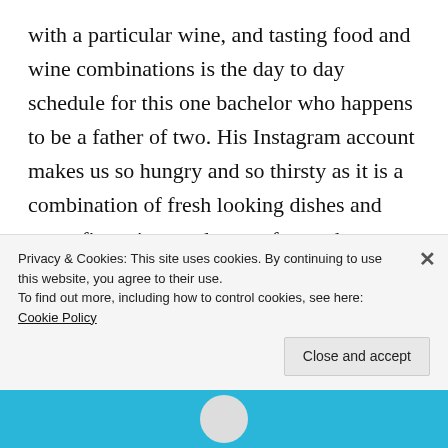with a particular wine, and tasting food and wine combinations is the day to day schedule for this one bachelor who happens to be a father of two. His Instagram account makes us so hungry and so thirsty as it is a combination of fresh looking dishes and super fine wines and not to forget the leisurely side of lifestyle this bachelor tends to enjoy on some of his business escapades. Clear blue waters, clear blue skies, beautiful plates of food and fine wine glasses that's this gentleman here.
(Instagram;https://instagram.com/tinashe_nyamudoka?igshid=...55...40(hl=0)
Privacy & Cookies: This site uses cookies. By continuing to use this website, you agree to their use.
To find out more, including how to control cookies, see here: Cookie Policy